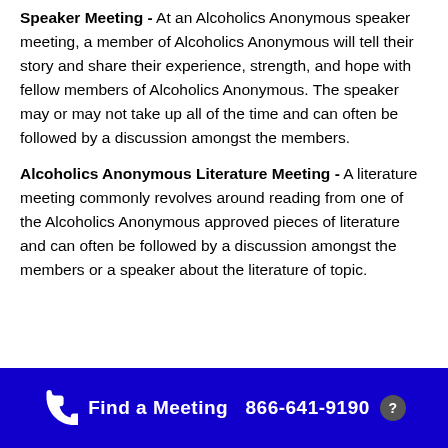Speaker Meeting - At an Alcoholics Anonymous speaker meeting, a member of Alcoholics Anonymous will tell their story and share their experience, strength, and hope with fellow members of Alcoholics Anonymous. The speaker may or may not take up all of the time and can often be followed by a discussion amongst the members.
Alcoholics Anonymous Literature Meeting - A literature meeting commonly revolves around reading from one of the Alcoholics Anonymous approved pieces of literature and can often be followed by a discussion amongst the members or a speaker about the literature of topic.
Find a Meeting  866-641-9190